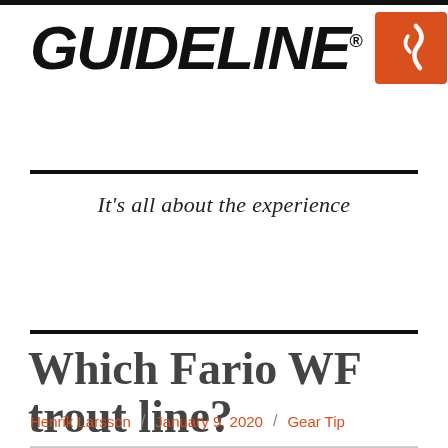[Figure (logo): Guideline brand logo with italic bold black text 'GUIDELINE.' and orange square icon with white fish/hook symbol]
It's all about the experience
Menu ∨
Which Fario WF trout line?
Henrik Larsson / January 9, 2020 / Gear Tip